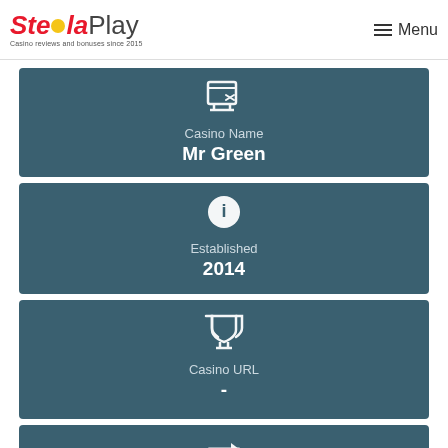StellaPlay — Casino reviews and bonuses since 2015
Casino Name
Mr Green
Established
2014
Casino URL
-
Company
Mr Green Limited